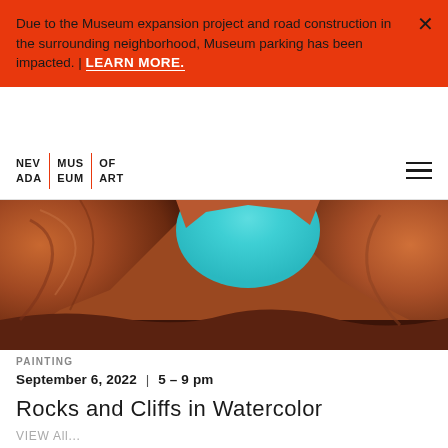Due to the Museum expansion project and road construction in the surrounding neighborhood, Museum parking has been impacted. | LEARN MORE.
[Figure (logo): Nevada Museum of Art logo — two columns of text NEV/ADA and MUS/EUM with OF/ART separated by red vertical dividers]
[Figure (photo): Close-up painting of red and brown canyon rock formations with a turquoise/teal opening of sky visible through the rocks — Rocks and Cliffs in Watercolor artwork]
PAINTING
September 6, 2022 | 5 – 9 pm
Rocks and Cliffs in Watercolor
VIEW All...